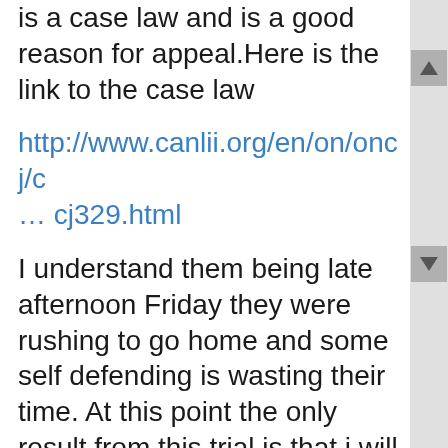is a case law and is a good reason for appeal.Here is the link to the case law
http://www.canlii.org/en/on/oncj/c ... cj329.html
I understand them being late afternoon Friday they were rushing to go home and some self defending is wasting their time. At this point the only result from this trial is that i will never trust the court or the police officers again. Ironically